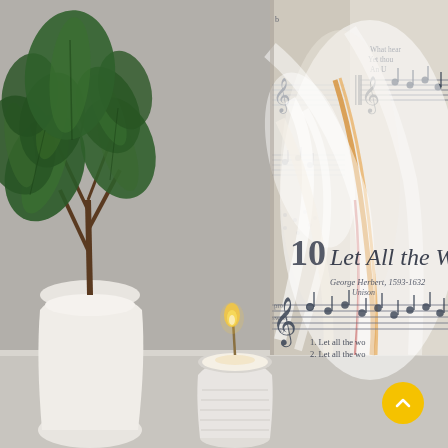[Figure (photo): Interior home decor photo showing a mixed-media canvas artwork hanging on a light gray wall. The artwork features an angel figure painted over sheet music, with text visible including 'Let All the W...' and 'George Herbert, 1593-1632, Unison' and musical notation with lyrics '1. Let all the wo... / 2. Let all the wo...'. A treble clef and musical staff are visible. Below the artwork on a white shelf or surface sits a white ceramic vase with a green fiddle-leaf fig plant, and a white ribbed glass candle holder with a lit candle. A yellow circular scroll-to-top button is visible in the bottom right corner.]